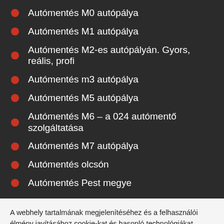Autómentés M0 autópálya
Autómentés M1 autópálya
Autómentés M2-es autópályán. Gyors, reális, profi
Autómentés m3 autópálya
Autómentés M5 autópálya
Autómentés M6 – a 024 autómentő szolgáltatása
Autómentés M7 autópálya
Autómentés olcsón
Autómentés Pest megye
A webhely tartalmának megjelenítéséhez és a felhasználói élmény javításához cookie-kat és hasonló technológiákat használunk. Az alábbi Cookiek (sütik) linkre kattintva találsz bővebb tájékoztatást.
Cookie beállítása
Elfogadom